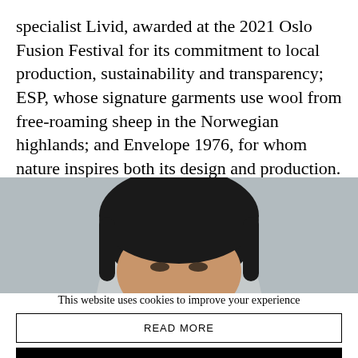specialist Livid, awarded at the 2021 Oslo Fusion Festival for its commitment to local production, sustainability and transparency; ESP, whose signature garments use wool from free-roaming sheep in the Norwegian highlands; and Envelope 1976, for whom nature inspires both its design and production. There will also be a party with Holzweiler.
[Figure (photo): A person's head and upper face visible, with dark hair, against a gray background.]
This website uses cookies to improve your experience
READ MORE
ACCEPT ALL
Settings